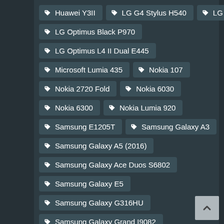Huawei Y3II
LG G4 Stylus H540
LG G6
LG Optimus Black P970
LG Optimus L4 II Dual E445
Microsoft Lumia 435
Nokia 107
Nokia 2720 Fold
Nokia 6030
Nokia 6300
Nokia Lumia 920
Samsung E1205T
Samsung Galaxy A3
Samsung Galaxy A5 (2016)
Samsung Galaxy Ace Duos S6802
Samsung Galaxy E5
Samsung Galaxy G316HU
Samsung Galaxy Grand I9082
Samsung Galaxy J1
Samsung Galaxy J7 J710F